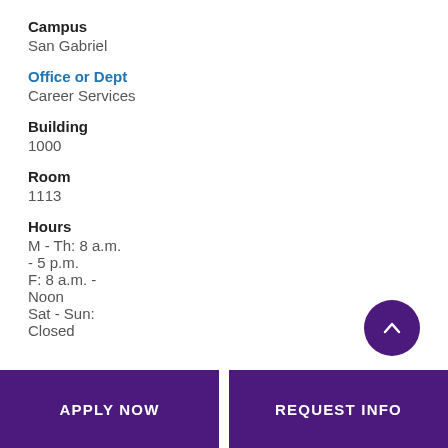Campus
San Gabriel
Office or Dept
Career Services
Building
1000
Room
1113
Hours
M - Th: 8 a.m. - 5 p.m. F: 8 a.m. - Noon Sat - Sun: Closed